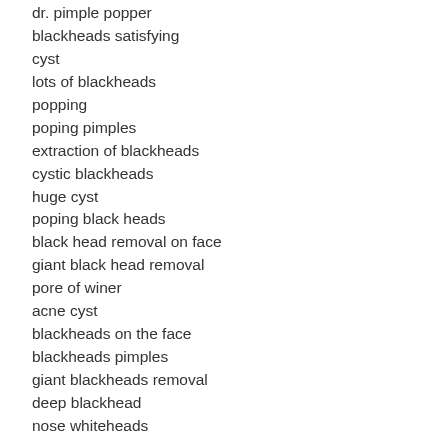dr. pimple popper
blackheads satisfying
cyst
lots of blackheads
popping
poping pimples
extraction of blackheads
cystic blackheads
huge cyst
poping black heads
black head removal on face
giant black head removal
pore of winer
acne cyst
blackheads on the face
blackheads pimples
giant blackheads removal
deep blackhead
nose whiteheads